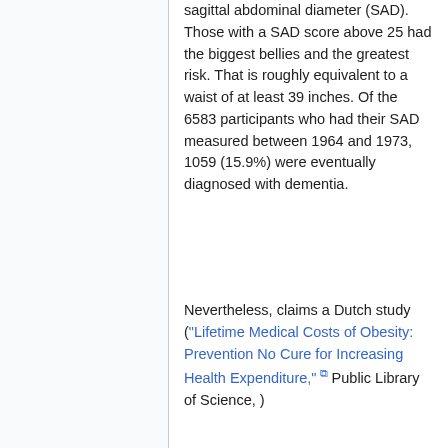sagittal abdominal diameter (SAD). Those with a SAD score above 25 had the biggest bellies and the greatest risk. That is roughly equivalent to a waist of at least 39 inches. Of the 6583 participants who had their SAD measured between 1964 and 1973, 1059 (15.9%) were eventually diagnosed with dementia.
Nevertheless, claims a Dutch study ("Lifetime Medical Costs of Obesity: Prevention No Cure for Increasing Health Expenditure," Public Library of Science, )